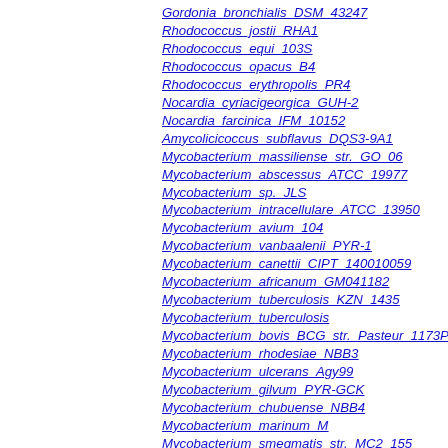Gordonia_bronchialis_DSM_43247
Rhodococcus_jostii_RHA1
Rhodococcus_equi_103S
Rhodococcus_opacus_B4
Rhodococcus_erythropolis_PR4
Nocardia_cyriacigeorgica_GUH-2
Nocardia_farcinica_IFM_10152
Amycolicicoccus_subflavus_DQS3-9A1
Mycobacterium_massiliense_str._GO_06
Mycobacterium_abscessus_ATCC_19977
Mycobacterium_sp._JLS
Mycobacterium_intracellulare_ATCC_13950
Mycobacterium_avium_104
Mycobacterium_vanbaalenii_PYR-1
Mycobacterium_canettii_CIPT_140010059
Mycobacterium_africanum_GM041182
Mycobacterium_tuberculosis_KZN_1435
Mycobacterium_tuberculosis
Mycobacterium_bovis_BCG_str._Pasteur_1173P2
Mycobacterium_rhodesiae_NBB3
Mycobacterium_ulcerans_Agy99
Mycobacterium_gilvum_PYR-GCK
Mycobacterium_chubuense_NBB4
Mycobacterium_marinum_M
Mycobacterium_smegmatis_str._MC2_155
Mycobacterium_leprae_Br4923
Corynebacterium_resistens_DSM_45100
Corynebacterium_aurimucosum_ATCC_700975
Corynebacterium_kroppenstedtii_DSM_44385
Corynebacterium_efficiens_YS-314